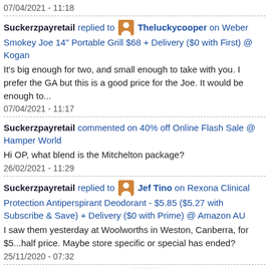07/04/2021 - 11:18
Suckerzpayretail replied to Theluckycooper on Weber Smokey Joe 14" Portable Grill $68 + Delivery ($0 with First) @ Kogan
It's big enough for two, and small enough to take with you. I prefer the GA but this is a good price for the Joe. It would be enough to...
07/04/2021 - 11:17
Suckerzpayretail commented on 40% off Online Flash Sale @ Hamper World
Hi OP, what blend is the Mitchelton package?
26/02/2021 - 11:29
Suckerzpayretail replied to Jef Tino on Rexona Clinical Protection Antiperspirant Deodorant - $5.85 ($5.27 with Subscribe & Save) + Delivery ($0 with Prime) @ Amazon AU
I saw them yesterday at Woolworths in Weston, Canberra, for $5...half price. Maybe store specific or special has ended?
25/11/2020 - 07:32
Suckerzpayretail commented on Rexona Clinical Protection Antiperspirant Deodorant - $5. 5.27 with Subscribe & Save) +